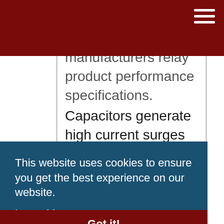manufacturers relay product performance specifications. Capacitors generate high current surges that can adversely affect circuit performance in such applications. These transients, while not significant...
This website uses cookies to ensure you get the best experience on our website. Learn More
Got it!